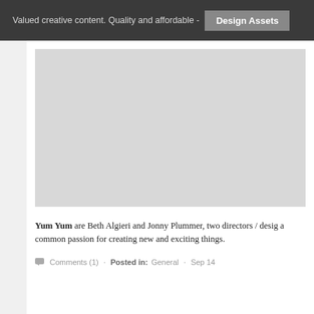Valued creative content. Quality and affordable - Design Assets
[Figure (other): Large image placeholder area (gray rectangle) showing cropped/blank image content from a blog post]
Yum Yum are Beth Algieri and Jonny Plummer, two directors / desig a common passion for creating new and exciting things.
Comments (1) · Posted in: General · Sep 14